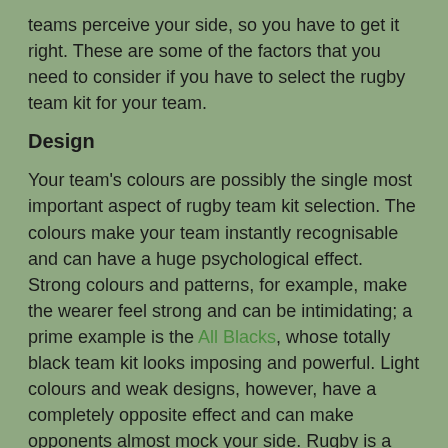teams perceive your side, so you have to get it right. These are some of the factors that you need to consider if you have to select the rugby team kit for your team.
Design
Your team's colours are possibly the single most important aspect of rugby team kit selection. The colours make your team instantly recognisable and can have a huge psychological effect. Strong colours and patterns, for example, make the wearer feel strong and can be intimidating; a prime example is the All Blacks, whose totally black team kit looks imposing and powerful. Light colours and weak designs, however, have a completely opposite effect and can make opponents almost mock your side. Rugby is a tough game and the colours you choose should reflect that. Modern manufacturing and printing methods make it possible to produce rugby jerseys in almost any colour and pattern, so your options are almost limitless.
The shape of the jersey is less important, especially at grass roots level. The traditional rugby jersey with collar, long